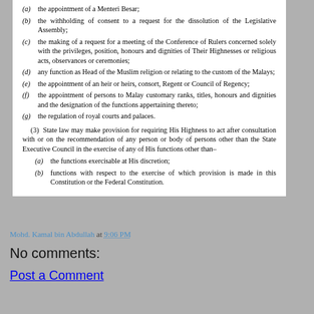(a) the appointment of a Menteri Besar;
(b) the withholding of consent to a request for the dissolution of the Legislative Assembly;
(c) the making of a request for a meeting of the Conference of Rulers concerned solely with the privileges, position, honours and dignities of Their Highnesses or religious acts, observances or ceremonies;
(d) any function as Head of the Muslim religion or relating to the custom of the Malays;
(e) the appointment of an heir or heirs, consort, Regent or Council of Regency;
(f) the appointment of persons to Malay customary ranks, titles, honours and dignities and the designation of the functions appertaining thereto;
(g) the regulation of royal courts and palaces.
(3) State law may make provision for requiring His Highness to act after consultation with or on the recommendation of any person or body of persons other than the State Executive Council in the exercise of any of His functions other than–
(a) the functions exercisable at His discretion;
(b) functions with respect to the exercise of which provision is made in this Constitution or the Federal Constitution.
Mohd. Kamal bin Abdullah at 9:06 PM
No comments:
Post a Comment